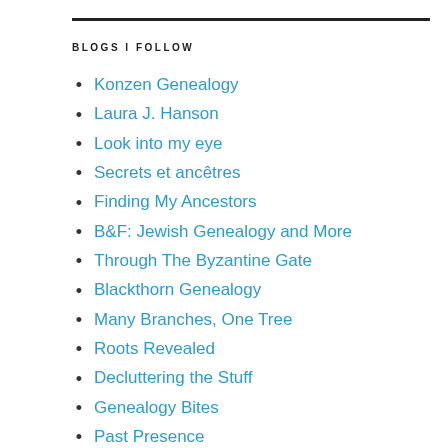BLOGS I FOLLOW
Konzen Genealogy
Laura J. Hanson
Look into my eye
Secrets et ancêtres
Finding My Ancestors
B&F: Jewish Genealogy and More
Through The Byzantine Gate
Blackthorn Genealogy
Many Branches, One Tree
Roots Revealed
Decluttering the Stuff
Genealogy Bites
Past Presence